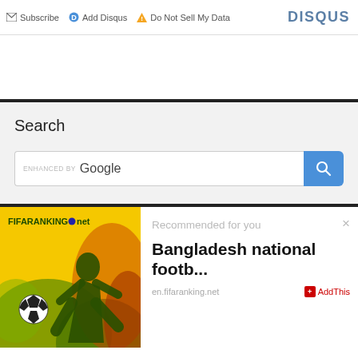Subscribe  Add Disqus  Do Not Sell My Data  DISQUS
Search
ENHANCED BY Google
[Figure (screenshot): FIFAranking.net advertisement image showing a soccer player silhouette kicking a ball on a yellow/green background]
Recommended for you
Bangladesh national footb...
en.fifaranking.net  AddThis